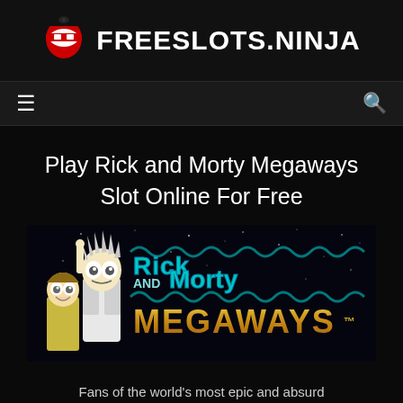FREESLOTS.NINJA
Play Rick and Morty Megaways Slot Online For Free
[Figure (illustration): Rick and Morty Megaways slot game banner image featuring cartoon characters Rick and Morty alongside the game logo with teal stylized text 'Rick and Morty' and gold metallic 'MEGAWAYS™' text on a dark starry space background]
Fans of the world's most epic and absurd